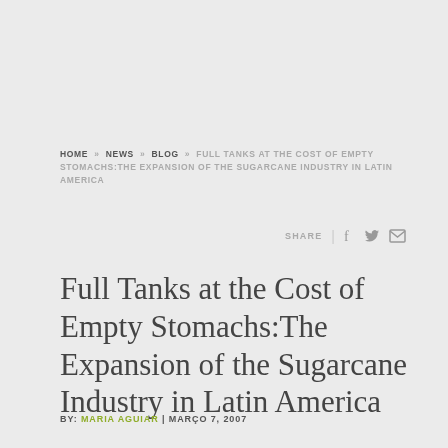HOME » NEWS » BLOG » FULL TANKS AT THE COST OF EMPTY STOMACHS:THE EXPANSION OF THE SUGARCANE INDUSTRY IN LATIN AMERICA
SHARE | f ✉
Full Tanks at the Cost of Empty Stomachs:The Expansion of the Sugarcane Industry in Latin America
BY: MARIA AGUIAR | MARÇO 7, 2007